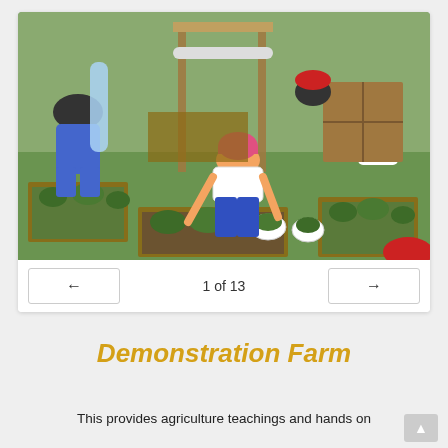[Figure (photo): A child wearing a pink cap and blue pants bending over raised garden beds at a demonstration farm. Other children and adults are seated in the background near wooden structures and potted plants.]
1 of 13
Demonstration Farm
This provides agriculture teachings and hands on